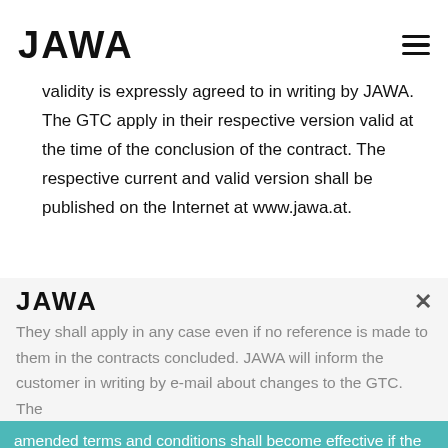JAWA
validity is expressly agreed to in writing by JAWA. The GTC apply in their respective version valid at the time of the conclusion of the contract. The respective current and valid version shall be published on the Internet at www.jawa.at.
They shall apply in any case even if no reference is made to them in the contracts concluded. JAWA will inform the customer in writing by e-mail about changes to the GTC. The amended terms and conditions shall become effective if the customer does not object to their validity in writing within six weeks of notification. Notification of the customer of the amendment of the GTC may be made by any means of communication the use of which is agreed between JAWA and the customer.